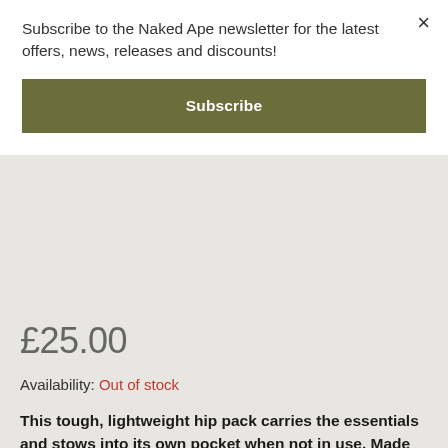Subscribe to the Naked Ape newsletter for the latest offers, news, releases and discounts!
Subscribe
×
£25.00
Availability: Out of stock
This tough, lightweight hip pack carries the essentials and stows into its own pocket when not in use. Made with 100% recycled body fabric, lining and webbing.
Made from extremely lightweight yet tough fabric, this handy hip pack stuffs into its own pocket when not in use and expands to carry small essentials for everyday use. The main